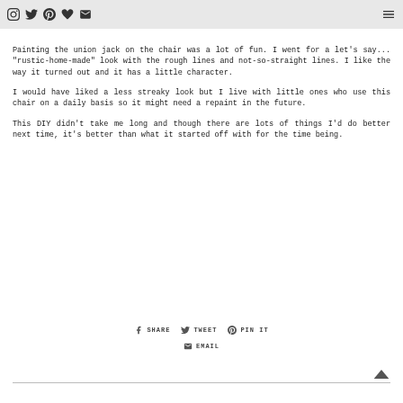Social media icons: Instagram, Twitter, Pinterest, Heart, Email | Hamburger menu
Painting the union jack on the chair was a lot of fun. I went for a let's say... "rustic-home-made" look with the rough lines and not-so-straight lines. I like the way it turned out and it has a little character.
I would have liked a less streaky look but I live with little ones who use this chair on a daily basis so it might need a repaint in the future.
This DIY didn't take me long and though there are lots of things I'd do better next time, it's better than what it started off with for the time being.
SHARE | TWEET | PIN IT | EMAIL